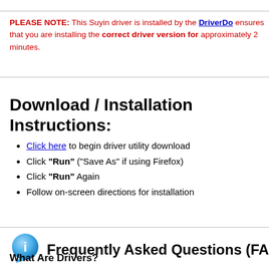PLEASE NOTE: This Suyin driver is installed by the DriverDo... ensures that you are installing the correct driver version for... approximately 2 minutes.
Download / Installation Instructions:
Click here to begin driver utility download
Click "Run" ("Save As" if using Firefox)
Click "Run" Again
Follow on-screen directions for installation
Frequently Asked Questions (FAQ)
What Are Drivers?